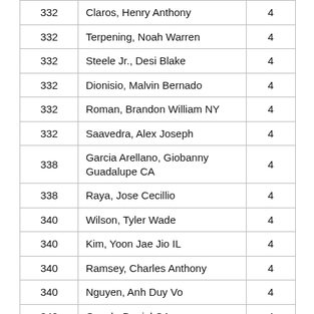| 332 | Claros, Henry Anthony | 4 |
| 332 | Terpening, Noah Warren | 4 |
| 332 | Steele Jr., Desi Blake | 4 |
| 332 | Dionisio, Malvin Bernado | 4 |
| 332 | Roman, Brandon William NY | 4 |
| 332 | Saavedra, Alex Joseph | 4 |
| 338 | Garcia Arellano, Giobanny Guadalupe CA | 4 |
| 338 | Raya, Jose Cecillio | 4 |
| 340 | Wilson, Tyler Wade | 4 |
| 340 | Kim, Yoon Jae Jio IL | 4 |
| 340 | Ramsey, Charles Anthony | 4 |
| 340 | Nguyen, Anh Duy Vo | 4 |
| 340 | Quach, Daniel CA | 4 |
| 340 | Garino, Joseph Alexander | 4 |
| 346 | Annabel, Brandon Tyler | 4 |
| 346 | Cardonacastro, Esteban | 4 |
| 348 | Murillo, Christopher Xavier | 4 |
| 349 | Kaspi, Destin Ari | 4 |